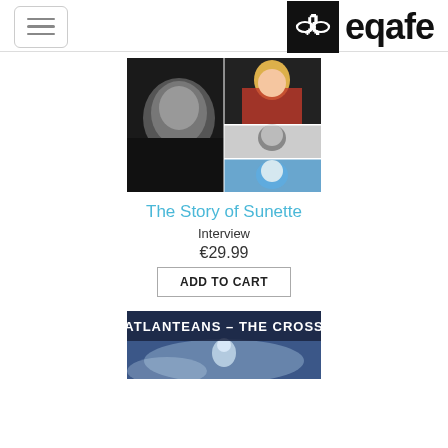eqafe
[Figure (photo): Product image for 'The Story of Sunette' — collage of black and white and color photos of a person at different ages/moments]
The Story of Sunette
Interview
€29.99
ADD TO CART
[Figure (photo): Bottom product image showing 'Atlanteans – The Cross' with blue icy background and illustrated figure]